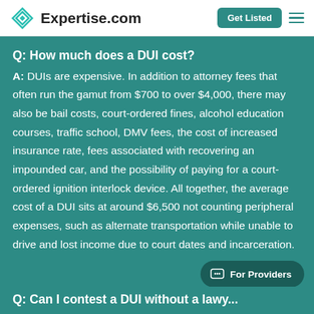Expertise.com — Get Listed
Q: How much does a DUI cost?
A: DUIs are expensive. In addition to attorney fees that often run the gamut from $700 to over $4,000, there may also be bail costs, court-ordered fines, alcohol education courses, traffic school, DMV fees, the cost of increased insurance rate, fees associated with recovering an impounded car, and the possibility of paying for a court-ordered ignition interlock device. All together, the average cost of a DUI sits at around $6,500 not counting peripheral expenses, such as alternate transportation while unable to drive and lost income due to court dates and incarceration.
Q: Can I contest a DUI without a lawyer...